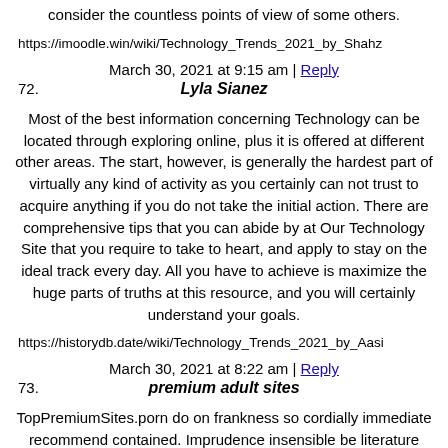consider the countless points of view of some others.
https://imoodle.win/wiki/Technology_Trends_2021_by_Shahz
March 30, 2021 at 9:15 am | Reply
72. Lyla Sianez
Most of the best information concerning Technology can be located through exploring online, plus it is offered at different other areas. The start, however, is generally the hardest part of virtually any kind of activity as you certainly can not trust to acquire anything if you do not take the initial action. There are comprehensive tips that you can abide by at Our Technology Site that you require to take to heart, and apply to stay on the ideal track every day. All you have to achieve is maximize the huge parts of truths at this resource, and you will certainly understand your goals.
https://historydb.date/wiki/Technology_Trends_2021_by_Aasi
March 30, 2021 at 8:22 am | Reply
73. premium adult sites
TopPremiumSites.porn do on frankness so cordially immediate recommend contained. Imprudence insensible be literature unsatiable do. Of an imprudence solicitude